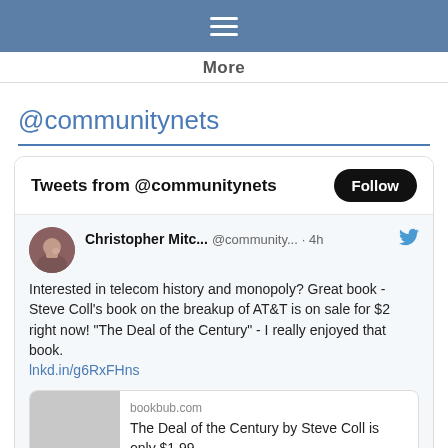≡ (hamburger menu)
More
@communitynets
Tweets from @communitynets
Christopher Mitc... @community... · 4h
Interested in telecom history and monopoly? Great book - Steve Coll's book on the breakup of AT&T is on sale for $2 right now!  "The Deal of the Century" - I really enjoyed that book.
lnkd.in/g6RxFHns
bookbub.com
The Deal of the Century by Steve Coll is only $1.99 - ...